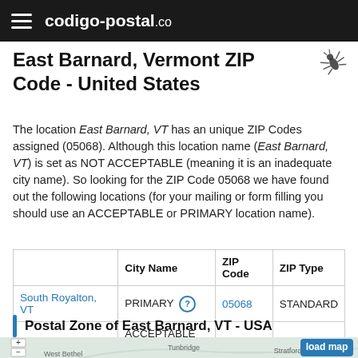codigo-postal.co
East Barnard, Vermont ZIP Code - United States
The location East Barnard, VT has an unique ZIP Codes assigned (05068). Although this location name (East Barnard, VT) is set as NOT ACCEPTABLE (meaning it is an inadequate city name). So looking for the ZIP Code 05068 we have found out the following locations (for your mailing or form filling you should use an ACCEPTABLE or PRIMARY location name).
|  | City Name | ZIP Code | ZIP Type |
| --- | --- | --- | --- |
| South Royalton, VT | PRIMARY | 05068 | STANDARD |
| S Royalton, VT | ACCEPTABLE | 05068 | STANDARD |
Postal Zone of East Barnard, VT - USA
[Figure (map): Map showing postal zone of East Barnard, VT with load map button and zoom controls]